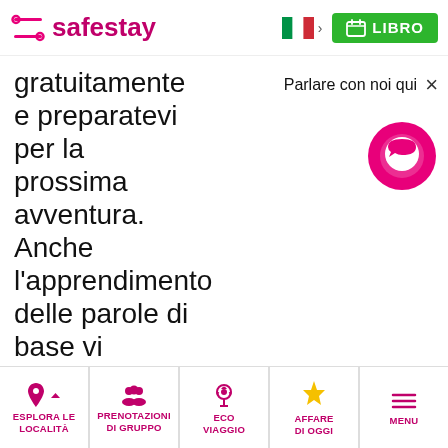safestay — LIBRO
gratuitamente e preparatevi per la prossima avventura. Anche l'apprendimento delle parole di base vi porterà lontano. Ecco un consiglio: rendete divertenti le
Parlare con noi qui ×
ESPLORA LE LOCALITÀ | PRENOTAZIONI DI GRUPPO | ECO VIAGGIO | AFFARE DI OGGI | MENU